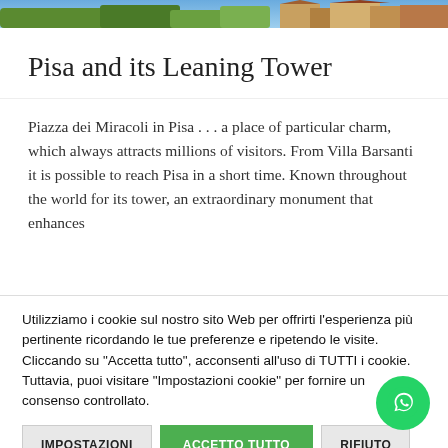[Figure (photo): Photo strip at top showing outdoor scenery with greenery and buildings]
Pisa and its Leaning Tower
Piazza dei Miracoli in Pisa . . . a place of particular charm, which always attracts millions of visitors. From Villa Barsanti it is possible to reach Pisa in a short time. Known throughout the world for its tower, an extraordinary monument that enhances
Utilizziamo i cookie sul nostro sito Web per offrirti l'esperienza più pertinente ricordando le tue preferenze e ripetendo le visite. Cliccando su "Accetta tutto", acconsenti all'uso di TUTTI i cookie. Tuttavia, puoi visitare "Impostazioni cookie" per fornire un consenso controllato.
IMPOSTAZIONI
ACCETTO TUTTO
RIFIUTO
Privacy Policy